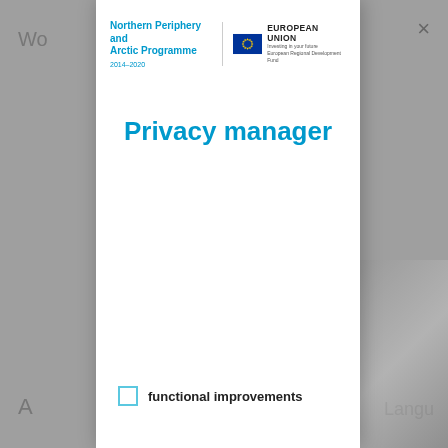[Figure (screenshot): Dimmed background showing partial webpage behind a privacy manager modal dialog]
[Figure (logo): Northern Periphery and Arctic Programme 2014-2020 logo alongside European Union European Regional Development Fund logo]
Privacy manager
functional improvements